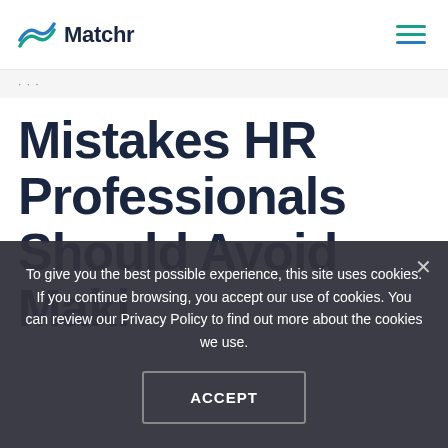Matchr
Mistakes HR Professionals Should Avoid Making
To give you the best possible experience, this site uses cookies. If you continue browsing, you accept our use of cookies. You can review our Privacy Policy to find out more about the cookies we use.
ACCEPT